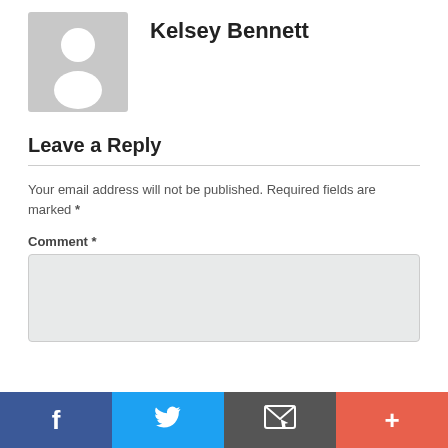[Figure (photo): Default user avatar placeholder — grey square with white silhouette of a person]
Kelsey Bennett
Leave a Reply
Your email address will not be published. Required fields are marked *
Comment *